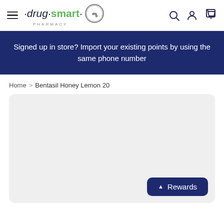drug smart pharmacy — navigation header with hamburger menu, logo, search, account, and cart icons
Signed up in store? Import your existing points by using the same phone number
Home > Bentasil Honey Lemon 20
[Figure (screenshot): Empty light grey product image placeholder area with rounded corners]
Rewards